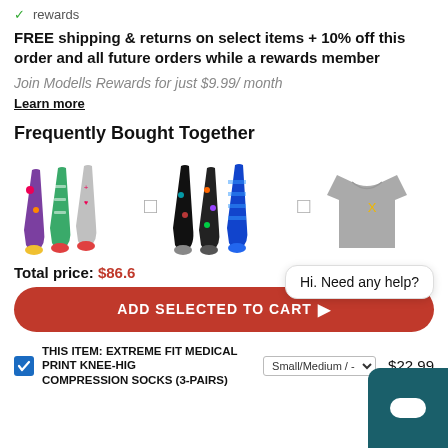✓ rewards
FREE shipping & returns on select items + 10% off this order and all future orders while a rewards member
Join Modells Rewards for just $9.99/ month
Learn more
Frequently Bought Together
[Figure (photo): Three pairs of colorful compression knee-high socks laid out]
[Figure (photo): Three pairs of patterned compression knee-high socks in black/blue]
[Figure (photo): Gray long sleeve shirt with yellow logo]
Total price: $86.6
ADD SELECTED TO CART
Hi. Need any help?
THIS ITEM: EXTREME FIT MEDICAL PRINT KNEE-HIGH COMPRESSION SOCKS (3-PAIRS)  Small/Medium / -   $22.99